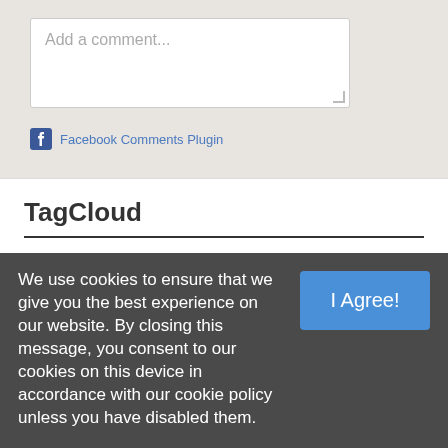[Figure (screenshot): Comment text input box with placeholder text 'Add a comment...']
Facebook Comments Plugin
TagCloud
Eat Local  Community  Press
We use cookies to ensure that we give you the best experience on our website. By closing this message, you consent to our cookies on this device in accordance with our cookie policy unless you have disabled them.